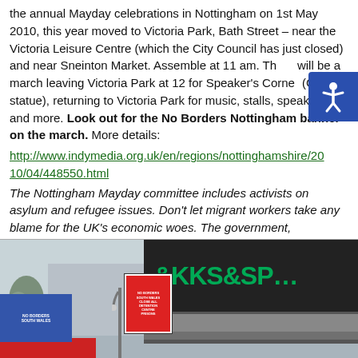the annual Mayday celebrations in Nottingham on 1st May 2010, this year moved to Victoria Park, Bath Street – near the Victoria Leisure Centre (which the City Council has just closed) and near Sneinton Market. Assemble at 11 am. There will be a march leaving Victoria Park at 12 for Speaker's Corner (Clough statue), returning to Victoria Park for music, stalls, speakers and more. Look out for the No Borders Nottingham banner on the march. More details: http://www.indymedia.org.uk/en/regions/nottinghamshire/2010/04/448550.html
The Nottingham Mayday committee includes activists on asylum and refugee issues. Don't let migrant workers take any blame for the UK's economic woes. The government, opposition parties and racist right-wingers know how to use 'divide and rule' all too well!
[Figure (photo): Street protest photo showing demonstrators with banners including a 'No Borders South Wales' sign and 'Close All Detention Centres' placard, in front of a Marks & Spencer store with green lettering on black fascia. A red banner is visible in the foreground.]